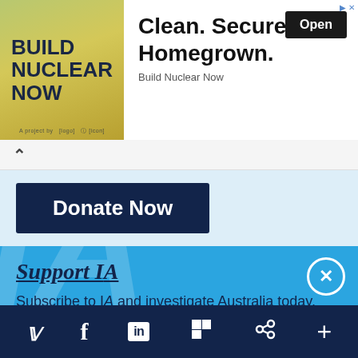[Figure (screenshot): Advertisement banner: BUILD NUCLEAR NOW with Clean. Secure. Homegrown. text and Open button, Build Nuclear Now label]
[Figure (screenshot): Collapse/scroll up arrow control bar]
[Figure (screenshot): Donate Now button on light blue background]
Support IA
Subscribe to IA and investigate Australia today.
[Figure (screenshot): Support IA popup with Close, Subscribe, and Donate buttons on blue background]
[Figure (screenshot): Social media footer bar with Twitter, Facebook, LinkedIn, Flipboard, share and plus icons]